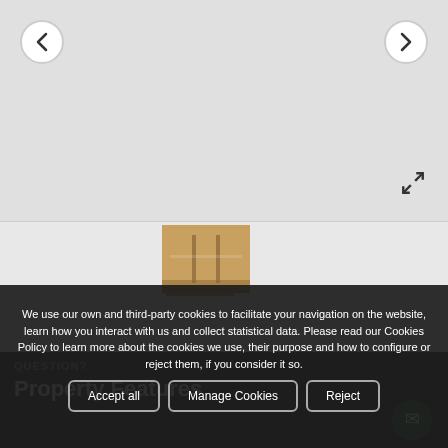[Figure (photo): Real estate property image slideshow with left/right navigation arrows, expand icon, and thumbnail strip showing interior room photos]
We use our own and third-party cookies to facilitate your navigation on the website, learn how you interact with us and collect statistical data. Please read our Cookies Policy to learn more about the cookies we use, their purpose and how to configure or reject them, if you consider it so.
Accept all | Manage Cookies | Reject
QUESTION?
Property Features